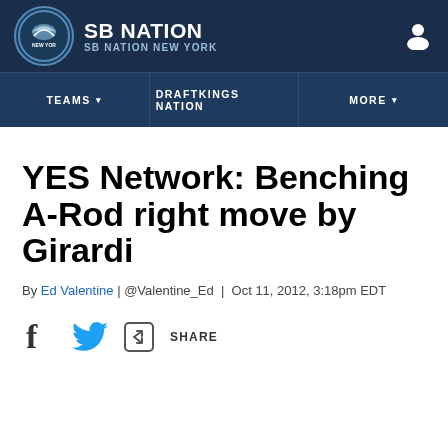SB NATION / SB NATION NEW YORK
YES Network: Benching A-Rod right move by Girardi
By Ed Valentine | @Valentine_Ed | Oct 11, 2012, 3:18pm EDT
SHARE